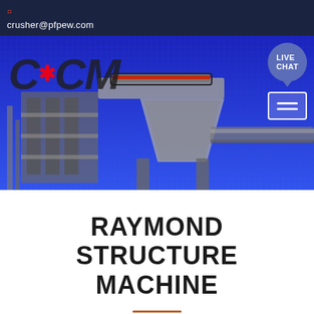crusher@pfpew.com
[Figure (photo): Industrial machinery / crushing plant against a blue background with CCM logo overlay and a Live Chat button in the top right corner]
RAYMOND STRUCTURE MACHINE
Crushing Equipment&Grinding Equipment